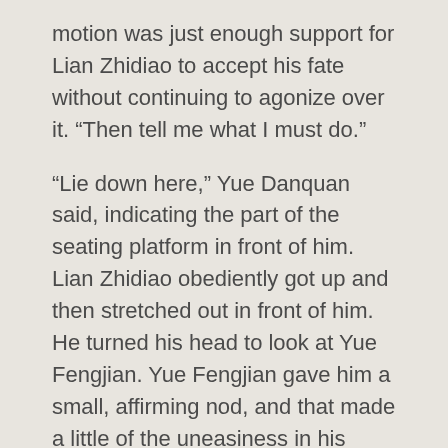motion was just enough support for Lian Zhidiao to accept his fate without continuing to agonize over it. “Then tell me what I must do.”
“Lie down here,” Yue Danquan said, indicating the part of the seating platform in front of him. Lian Zhidiao obediently got up and then stretched out in front of him. He turned his head to look at Yue Fengjian. Yue Fengjian gave him a small, affirming nod, and that made a little of the uneasiness in his stomach abate.
Yue Danquan stretched out his arm and laid his hand over Lian Zhidiao’s belly, above his navel. “Relax,” he said.
Lian Zhidiao took a deep breath and let it out and then